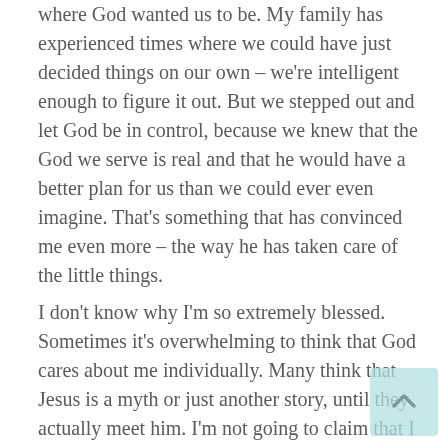where God wanted us to be. My family has experienced times where we could have just decided things on our own – we're intelligent enough to figure it out. But we stepped out and let God be in control, because we knew that the God we serve is real and that he would have a better plan for us than we could ever even imagine. That's something that has convinced me even more – the way he has taken care of the little things.
I don't know why I'm so extremely blessed. Sometimes it's overwhelming to think that God cares about me individually. Many think that Jesus is a myth or just another story, until they actually meet him. I'm not going to claim that I understand everything, but to me it's not just a nice belief